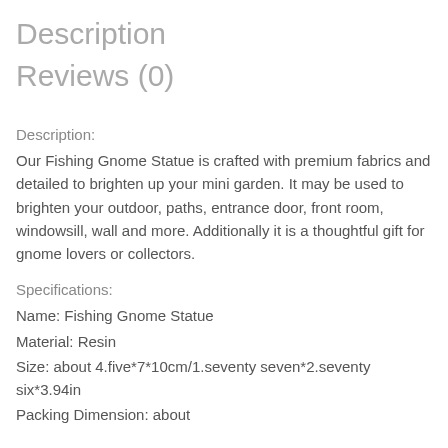Description
Reviews (0)
Description:
Our Fishing Gnome Statue is crafted with premium fabrics and detailed to brighten up your mini garden. It may be used to brighten your outdoor, paths, entrance door, front room, windowsill, wall and more. Additionally it is a thoughtful gift for gnome lovers or collectors.
Specifications:
Name: Fishing Gnome Statue
Material: Resin
Size: about 4.five*7*10cm/1.seventy seven*2.seventy six*3.94in
Packing Dimension: about